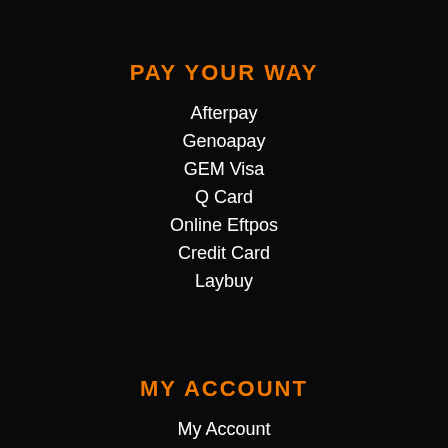PAY YOUR WAY
Afterpay
Genoapay
GEM Visa
Q Card
Online Eftpos
Credit Card
Laybuy
MY ACCOUNT
My Account